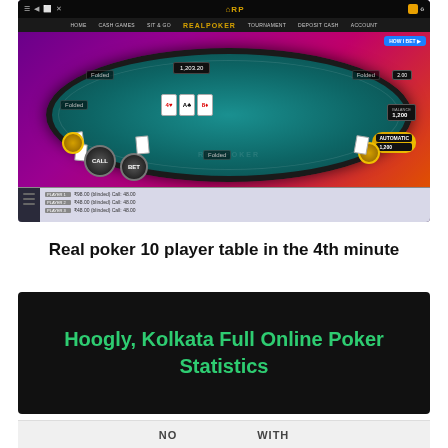[Figure (screenshot): Screenshot of RealPoker India online poker website showing a 10-player poker table in progress with players in various states (folded, calling, betting), community cards on the table, pot display showing 1,203.20, and action buttons including CALL and BET. Navigation bar at top shows HOME, CASH GAMES, SIT & GO, REALPOKER, TOURNAMENT, DEPOSIT CASH, ACCOUNT menus.]
Real poker 10 player table in the 4th minute
[Figure (screenshot): Dark banner/header image with green bold text reading 'Hoogly, Kolkata Full Online Poker Statistics' on a black background]
NO     WITH